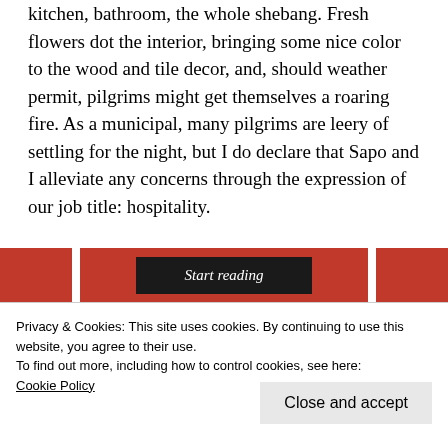kitchen, bathroom, the whole shebang. Fresh flowers dot the interior, bringing some nice color to the wood and tile decor, and, should weather permit, pilgrims might get themselves a roaring fire. As a municipal, many pilgrims are leery of settling for the night, but I do declare that Sapo and I alleviate any concerns through the expression of our job title: hospitality.
[Figure (screenshot): A red banner with a dark 'Start reading' button in the center]
Privacy & Cookies: This site uses cookies. By continuing to use this website, you agree to their use.
To find out more, including how to control cookies, see here:
Cookie Policy
Close and accept